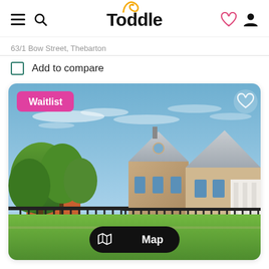Toddle
63/1 Bow Street, Thebarton
Add to compare
[Figure (photo): Toddle childcare listing card showing a stone heritage-style building with blue sky and green lawn, with a pink Waitlist badge in the top left, a heart icon in the top right, and a black Map button in the center bottom.]